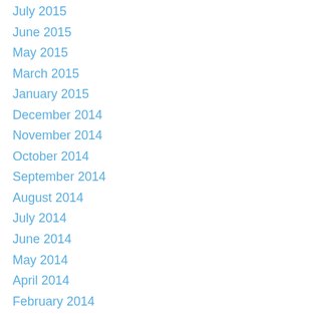July 2015
June 2015
May 2015
March 2015
January 2015
December 2014
November 2014
October 2014
September 2014
August 2014
July 2014
June 2014
May 2014
April 2014
February 2014
October 2013
September 2013
August 2013
July 2013
June 2013